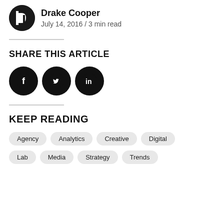Drake Cooper
July 14, 2016 / 3 min read
SHARE THIS ARTICLE
[Figure (other): Social media share icons: Facebook, Twitter, LinkedIn (black circles with white icons)]
KEEP READING
Agency
Analytics
Creative
Digital
Lab
Media
Strategy
Trends